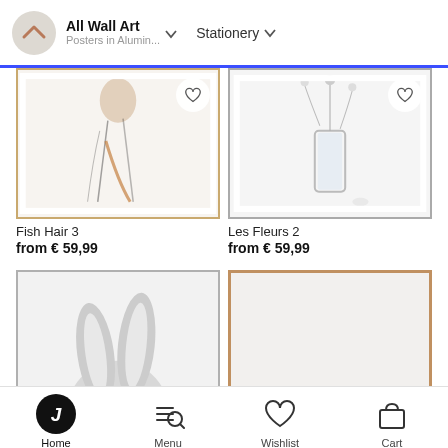All Wall Art | Posters in Alumin... | Stationery
[Figure (photo): Partial view of 'Fish Hair 3' art print showing abstract figure with golden frame]
[Figure (photo): Partial view of 'Les Fleurs 2' art print showing floral/glass still life with silver frame]
Fish Hair 3
from € 59,99
Les Fleurs 2
from € 59,99
[Figure (illustration): Art print of woman with rabbit head profile, pencil drawing style, silver frame]
[Figure (illustration): Art print of hummingbird with butterfly glasses from above, pencil drawing style, wood frame]
Home | Menu | Wishlist | Cart